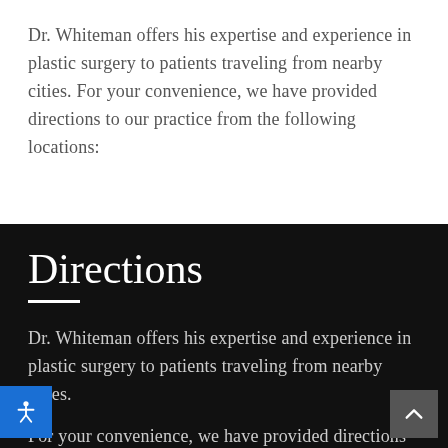Dr. Whiteman offers his expertise and experience in plastic surgery to patients traveling from nearby cities. For your convenience, we have provided directions to our practice from the following locations:
Directions
Dr. Whiteman offers his expertise and experience in plastic surgery to patients traveling from nearby cities. For your convenience, we have provided directions to our practice